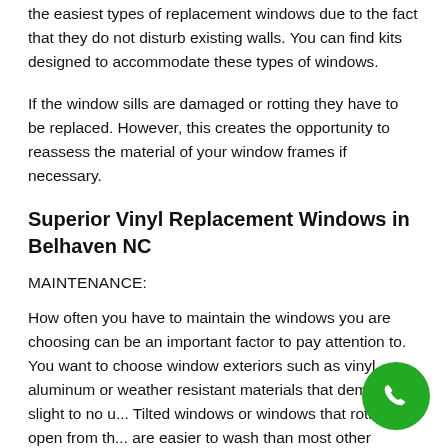the easiest types of replacement windows due to the fact that they do not disturb existing walls. You can find kits designed to accommodate these types of windows.
If the window sills are damaged or rotting they have to be replaced. However, this creates the opportunity to reassess the material of your window frames if necessary.
Superior Vinyl Replacement Windows in Belhaven NC
MAINTENANCE:
How often you have to maintain the windows you are choosing can be an important factor to pay attention to. You want to choose window exteriors such as vinyl, aluminum or weather resistant materials that demand slight to no u... Tilted windows or windows that rotate or open from th... are easier to wash than most other designs.
[Figure (other): Green circular phone/call button icon in the bottom right corner]